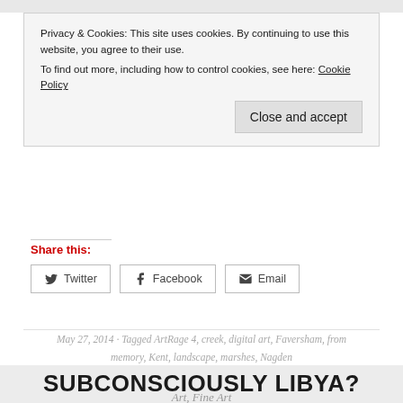Privacy & Cookies: This site uses cookies. By continuing to use this website, you agree to their use.
To find out more, including how to control cookies, see here: Cookie Policy
Close and accept
Share this:
Twitter
Facebook
Email
May 27, 2014 · Tagged ArtRage 4, creek, digital art, Faversham, from memory, Kent, landscape, marshes, Nagden
SUBCONSCIOUSLY LIBYA?
Art, Fine Art